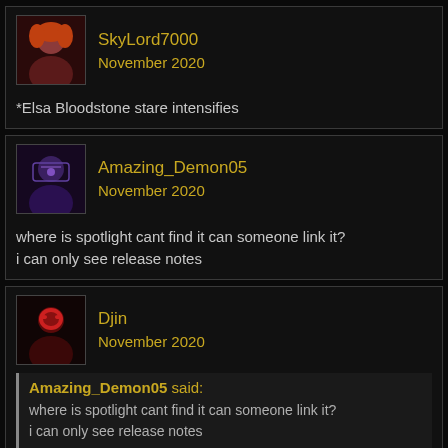SkyLord7000
November 2020
*Elsa Bloodstone stare intensifies
Amazing_Demon05
November 2020
where is spotlight cant find it can someone link it?
i can only see release notes
Djin
November 2020
Amazing_Demon05 said:
where is spotlight cant find it can someone link it?
i can only see release notes
https://forums.playcontestofchampions.com/en/discussion/236083/champion-spotlight-daredevil-hells-kitchen#latest